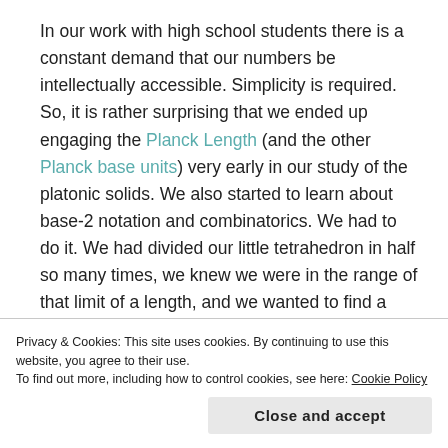In our work with high school students there is a constant demand that our numbers be intellectually accessible. Simplicity is required.  So, it is rather surprising that we ended up engaging the Planck Length (and the other Planck base units) very early in our study of the platonic solids. We also started to learn about base-2 notation and combinatorics. We had to do it. We had divided our little tetrahedron in half so many times, we knew we were in the range of that limit of a length, and we wanted to find a place to stop. Eventually, to get more accurate, we started with the Planck Length, used base-2 exponential
Privacy & Cookies: This site uses cookies. By continuing to use this website, you agree to their use.
To find out more, including how to control cookies, see here: Cookie Policy
Close and accept